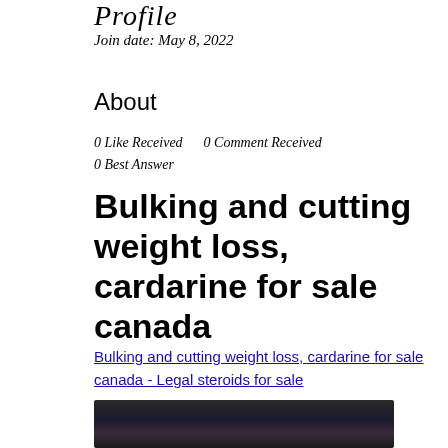Profile
Join date: May 8, 2022
About
0 Like Received    0 Comment Received
0 Best Answer
Bulking and cutting weight loss, cardarine for sale canada
Bulking and cutting weight loss, cardarine for sale canada - Legal steroids for sale
[Figure (photo): Dark blurred photo, appears to be a product or supplement image]